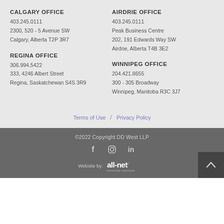CALGARY OFFICE
403.245.0111
2300, 520 - 5 Avenue SW
Calgary, Alberta T2P 3R7
AIRDRIE OFFICE
403.245.0111
Peak Business Centre
202, 191 Edwards Way SW
Airdrie, Alberta T4B 3E2
REGINA OFFICE
306.994.5422
333, 4246 Albert Street
Regina, Saskatchewan S4S 3R9
WINNIPEG OFFICE
204.421.8655
300 - 305 Broadway
Winnipeg, Manitoba R3C 3J7
Terms of Use / Privacy Policy
©2022 Copyright DD West LLP
[Figure (logo): all-net municipal solutions logo]
Website by: